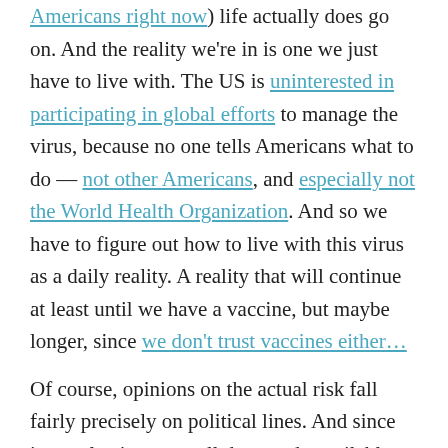Americans right now) life actually does go on. And the reality we're in is one we just have to live with. The US is uninterested in participating in global efforts to manage the virus, because no one tells Americans what to do — not other Americans, and especially not the World Health Organization. And so we have to figure out how to live with this virus as a daily reality. A reality that will continue at least until we have a vaccine, but maybe longer, since we don't trust vaccines either…
Of course, opinions on the actual risk fall fairly precisely on political lines. And since its an election year, all data made available to us is filtered through one of two lenses. If you're on the left, the pandemic must be the worst thing that ever happened because Trump's